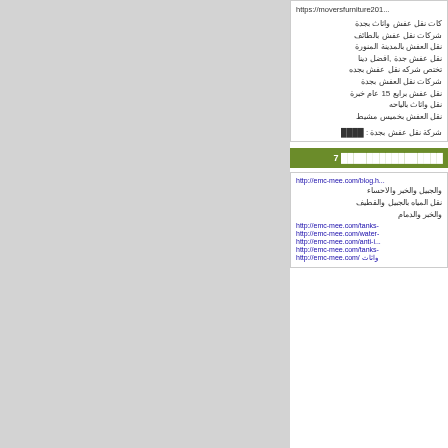https://moversfurniture201...
كات نقل عفش واثاث بجدة شركات نقل عفش بالطائف نقل العفش بالمدينة المنورة نقل عفش جدة ,افضل دينا تختص شركه نقل عفش بجده شركات نقل العفش بجدة نقل عفش برايع 15 عام خبرة نقل واثاث بالياحه نقل العفش بخميس مشيط
شركة نقل عفش بجدة : ████
████████████████ 7
http://emc-mee.com/blog.h... والجبيل والخبر والاحساء نقل المياه بالجبيل والقطيف والخبر والدمام
http://emc-mee.com/tanks-
http://emc-mee.com/water-
http://emc-mee.com/anti-i...
http://emc-mee.com/tanks-
http://emc-mee.com/ واثاث